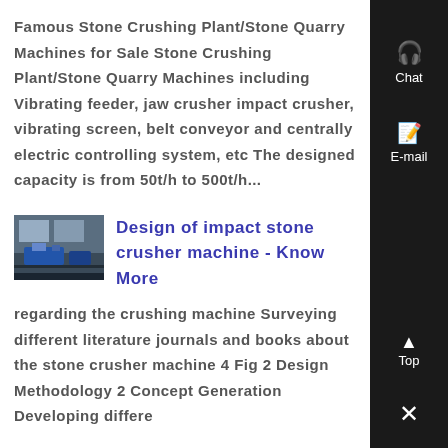Famous Stone Crushing Plant/Stone Quarry Machines for Sale Stone Crushing Plant/Stone Quarry Machines including Vibrating feeder, jaw crusher impact crusher, vibrating screen, belt conveyor and centrally electric controlling system, etc The designed capacity is from 50t/h to 500t/h...
[Figure (photo): Thumbnail photo of industrial stone crusher machine in a factory setting, blue machinery visible]
Design of impact stone crusher machine - Know More
regarding the crushing machine Surveying different literature journals and books about the stone crusher machine 4 Fig 2 Design Methodology 2 Concept Generation Developing differe